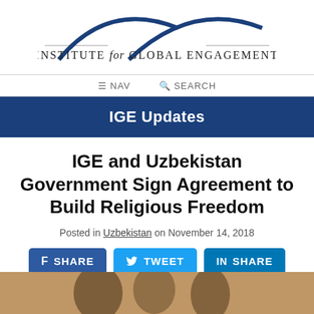[Figure (logo): Institute for Global Engagement logo with two overlapping blue arcs and text 'INSTITUTE for GLOBAL ENGAGEMENT']
≡ NAV   🔍 SEARCH
IGE Updates
IGE and Uzbekistan Government Sign Agreement to Build Religious Freedom
Posted in Uzbekistan on November 14, 2018
[Figure (infographic): Three social sharing buttons: Facebook SHARE (dark blue), Twitter TWEET (light blue), LinkedIn SHARE (teal blue)]
[Figure (photo): Partial photo at bottom of page showing people, likely at a signing ceremony]